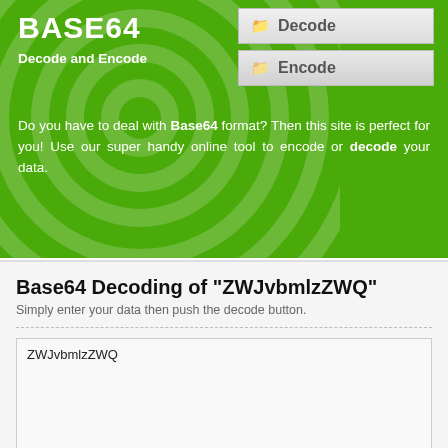BASE64
Decode and Encode
[Figure (other): Navigation buttons: Decode (active) and Encode]
Do you have to deal with Base64 format? Then this site is perfect for you! Use our super handy online tool to encode or decode your data.
Base64 Decoding of "ZWJvbmlzZWQ"
Simply enter your data then push the decode button.
ZWJvbmlzZWQ